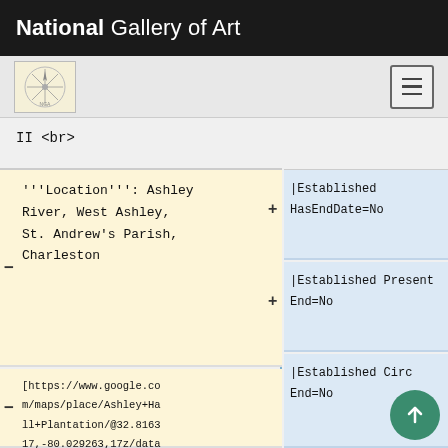National Gallery of Art
[Figure (logo): Small circular navigation logo with star/compass design on cream background, and hamburger menu icon]
II <br>
'''Location''': Ashley River, West Ashley, St. Andrew's Parish, Charleston
[https://www.google.com/maps/place/Ashley+Hall+Plantation/@32.816317,-80.029263,17z/data=!3m1!4b1!4m2!3m1!1s0x88fe7c8a90e4a30d:0x655b14a5aa8e2a00, view on Google Maps]<br>
|Established HasEndDate=No
|Established Present End=No
|Established Circ End=No